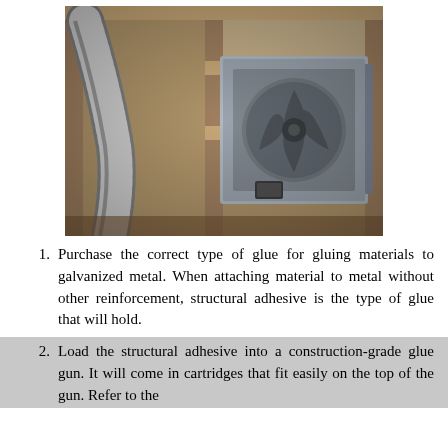[Figure (photo): Photo of galvanized metal ductwork and a ventilation fan box mounted between wooden wall studs during construction. A flexible metallic hose/duct is visible on the left, and a square metal fan housing with visible fan blades is on the right.]
Purchase the correct type of glue for gluing materials to galvanized metal. When attaching material to metal without other reinforcement, structural adhesive is the type of glue that will hold.
Load the structural adhesive into a construction-grade glue gun. It will come in cartridges that fit easily on the top of the gun. Refer to the